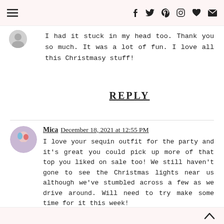Navigation and social icons header
I had it stuck in my head too. Thank you so much. It was a lot of fun. I love all this Christmasy stuff!
REPLY
Mica December 18, 2021 at 12:55 PM
I love your sequin outfit for the party and it's great you could pick up more of that top you liked on sale too! We still haven't gone to see the Christmas lights near us although we've stumbled across a few as we drive around. Will need to try make some time for it this week!
Hope that you are having a good weekend! ;) We had a fun playdate at the park yesterday.
Away From The Blue
^